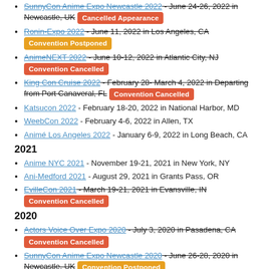SunnyCon Anime Expo Newcastle 2022 - June 24-26, 2022 in Newcastle, UK [Cancelled Appearance]
Ronin-Expo 2022 - June 11, 2022 in Los Angeles, CA [Convention Postponed]
AnimeNEXT 2022 - June 10-12, 2022 in Atlantic City, NJ [Convention Cancelled]
King Con Cruise 2022 - February 28-March 4, 2022 in Departing from Port Canaveral, FL [Convention Cancelled]
Katsucon 2022 - February 18-20, 2022 in National Harbor, MD
WeebCon 2022 - February 4-6, 2022 in Allen, TX
Animé Los Angeles 2022 - January 6-9, 2022 in Long Beach, CA
2021
Anime NYC 2021 - November 19-21, 2021 in New York, NY
Ani-Medford 2021 - August 29, 2021 in Grants Pass, OR
EvilleCon 2021 - March 19-21, 2021 in Evansville, IN [Convention Cancelled]
2020
Actors Voice Over Expo 2020 - July 3, 2020 in Pasadena, CA [Convention Cancelled]
SunnyCon Anime Expo Newcastle 2020 - June 26-28, 2020 in Newcastle, UK [Convention Postponed]
Ronin-Expo 2020 - June 6, 2020 in Los Angeles, CA